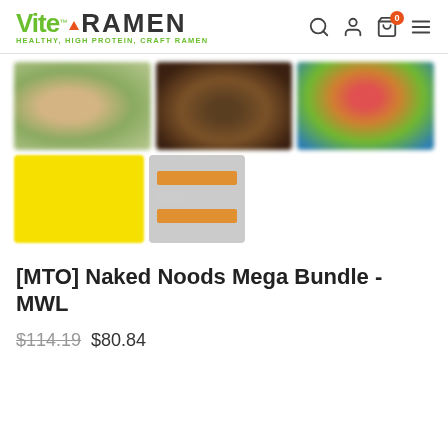[Figure (logo): Vite Ramen logo with green text and orange triangle, tagline: HEALTHY, HIGH PROTEIN, CRAFT RAMEN]
[Figure (photo): Gallery of 5 blurred product/food images: three in top row (food with garnish, dark ramen bowl, colorful vegetables/fruits), two in bottom row (yellow background product image, gray card with orange elements)]
[MTO] Naked Noods Mega Bundle - MWL
$114.19 $80.84